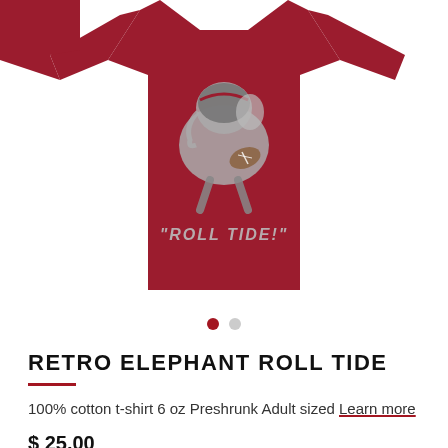[Figure (photo): A dark crimson/red t-shirt displayed flat, featuring a retro cartoon elephant wearing a football helmet and jersey, with the text 'ROLL TIDE!' printed in gray on the shirt. The elephant mascot is shown in a dynamic football pose.]
RETRO ELEPHANT ROLL TIDE
100% cotton t-shirt 6 oz Preshrunk Adult sized Learn more
$ 25.00